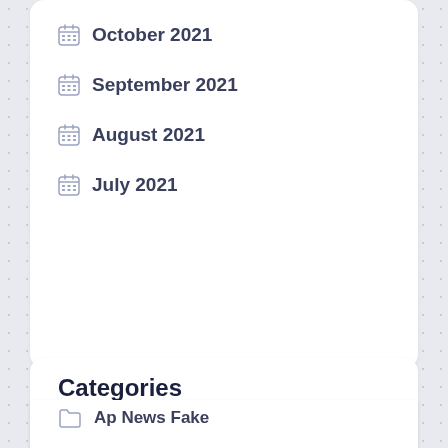October 2021
September 2021
August 2021
July 2021
Categories
Ap News Fake
Best Audemars Piguet Replica Reddit
Best Fake Luxury Watches
Best Rolex Submariner Replica Usa
Breitling Chronometre A32350 Fake How To Spot